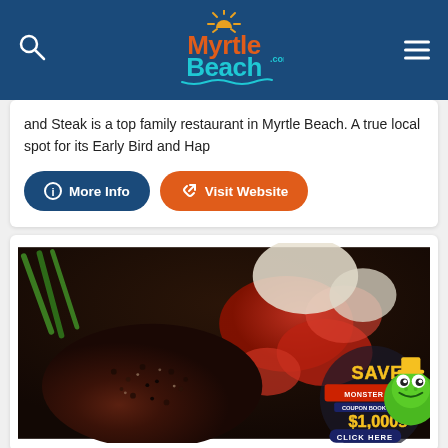MyrtleBeach.com
and Steak is a top family restaurant in Myrtle Beach. A true local spot for its Early Bird and Hap
More Info | Visit Website
[Figure (photo): Close-up photo of a seasoned pepper-crusted steak with lobster tail and asparagus, with a Monster Coupon Book 'SAVE $1,000s CLICK HERE' badge overlay in the bottom right corner.]